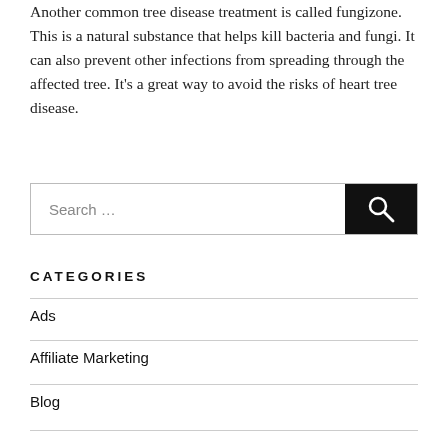Another common tree disease treatment is called fungizone. This is a natural substance that helps kill bacteria and fungi. It can also prevent other infections from spreading through the affected tree. It's a great way to avoid the risks of heart tree disease.
Search …
CATEGORIES
Ads
Affiliate Marketing
Blog